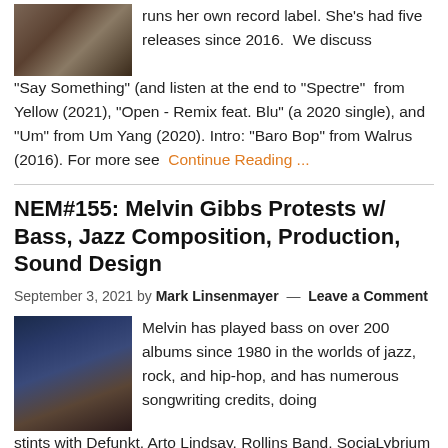[Figure (photo): Small thumbnail image of a person or scene, partially visible at top]
runs her own record label. She's had five releases since 2016.  We discuss "Say Something" (and listen at the end to "Spectre"  from Yellow (2021), "Open - Remix feat. Blu" (a 2020 single), and "Um" from Um Yang (2020). Intro: "Baro Bop" from Walrus (2016). For more see  Continue Reading ...
NEM#155: Melvin Gibbs Protests w/ Bass, Jazz Composition, Production, Sound Design
September 3, 2021 by Mark Linsenmayer — Leave a Comment
[Figure (photo): Photo of Melvin Gibbs playing bass guitar on stage]
Melvin has played bass on over 200 albums since 1980 in the worlds of jazz, rock, and hip-hop, and has numerous songwriting credits, doing stints with Defunkt, Arto Lindsay, Rollins Band, SociaLybrium (with Bernie Worrell), The Zig Zag Power Trio (with ...